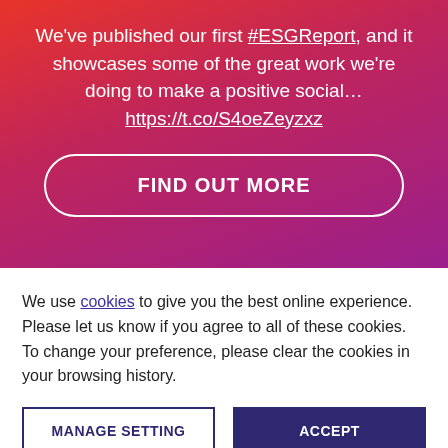We've published our first #ESGReport, and it showcases some of the great work we're doing to make a positive social… https://t.co/S4oeZeyzxz
FIND OUT MORE
We use cookies to give you the best online experience. Please let us know if you agree to all of these cookies. To change your preference, please clear the cookies in your browsing history.
MANAGE SETTING
ACCEPT